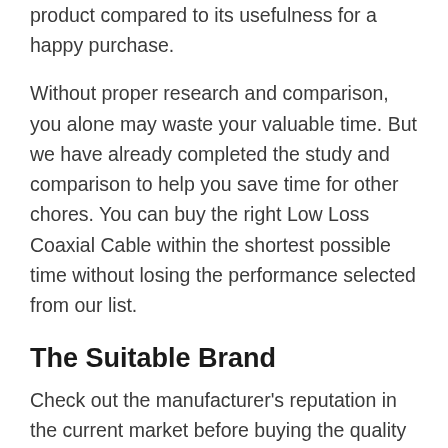product compared to its usefulness for a happy purchase.
Without proper research and comparison, you alone may waste your valuable time. But we have already completed the study and comparison to help you save time for other chores. You can buy the right Low Loss Coaxial Cable within the shortest possible time without losing the performance selected from our list.
The Suitable Brand
Check out the manufacturer's reputation in the current market before buying the quality Low Loss Coaxial Cable. The desired Low Loss Coaxial